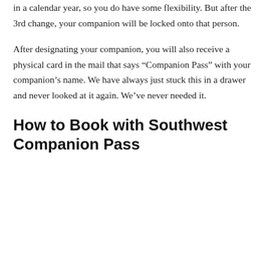Keep in mind, you can change your companion 3 times in a calendar year, so you do have some flexibility. But after the 3rd change, your companion will be locked onto that person.
After designating your companion, you will also receive a physical card in the mail that says “Companion Pass” with your companion’s name. We have always just stuck this in a drawer and never looked at it again. We’ve never needed it.
How to Book with Southwest Companion Pass